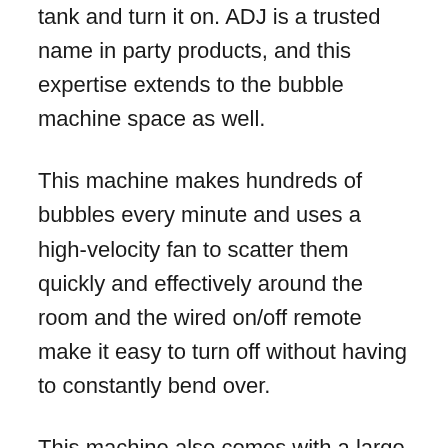tank and turn it on. ADJ is a trusted name in party products, and this expertise extends to the bubble machine space as well.
This machine makes hundreds of bubbles every minute and uses a high-velocity fan to scatter them quickly and effectively around the room and the wired on/off remote make it easy to turn off without having to constantly bend over.
This machine also comes with a large bottle of bubble solution to get you started. That said, they do recommend using the bubble solution made